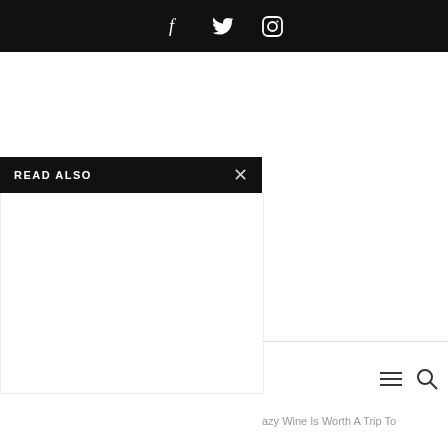Social media icons: Facebook, Twitter, Instagram
READ ALSO ×
azy Wine Is Worth A Trip To